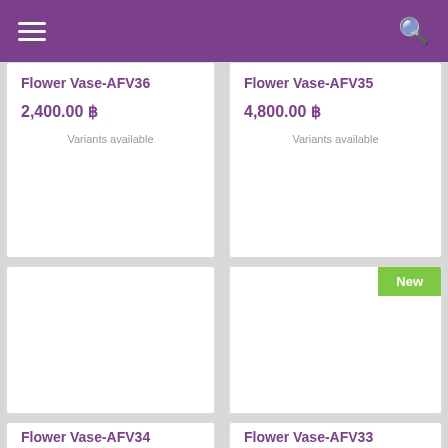Navigation header with hamburger menu and search icon
Flower Vase-AFV36
2,400.00 ฿
Variants available
Flower Vase-AFV35
4,800.00 ฿
Variants available
[Figure (photo): Blank product image card with no image loaded]
[Figure (photo): Blank product image card with New badge in top-right corner]
Flower Vase-AFV34 (partially visible)
Flower Vase-AFV33 (partially visible)